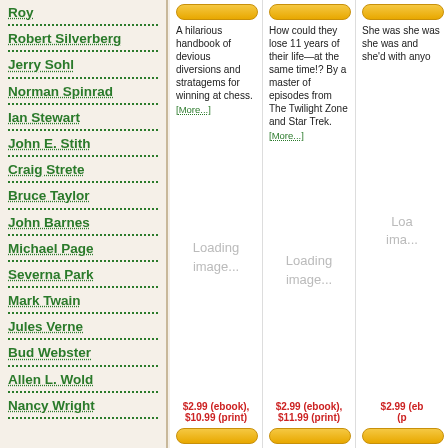Roy
Robert Silverberg
Jerry Sohl
Norman Spinrad
Ian Stewart
John E. Stith
Craig Strete
Bruce Taylor
John Barnes
Michael Page
Severna Park
Mark Twain
Jules Verne
Bud Webster
Allen L. Wold
Nancy Wright
A hilarious handbook of devious diversions and stratagems for winning at chess. [More...]
How could they lose 11 years of their life—at the same time!? By a master of episodes from The Twilight Zone and Star Trek. [More...]
She was she was she was and she'd with anyo
[Figure (other): Loading image placeholder]
[Figure (other): Loading image placeholder]
[Figure (other): Loading image placeholder]
$2.99 (ebook), $10.99 (print)
$2.99 (ebook), $11.99 (print)
$2.99 (ebook), (p